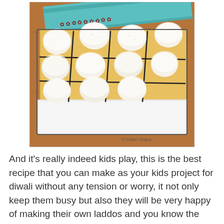[Figure (photo): A box of white coconut ladoo sweets arranged in a gold-lined box with black dividers, with a teal decorative lid partially visible at the top. The box sits on a wooden surface. Watermark reads 'Indian Khana'.]
And it's really indeed kids play, this is the best recipe that you can make as your kids project for diwali without any tension or worry, it not only keep them busy but also they will be very happy of making their own laddos and you know the added benefit?  You can do your other work or deep frying stuff during this time with peace of mind.   I have been doing this for more than 15 years now, it started after